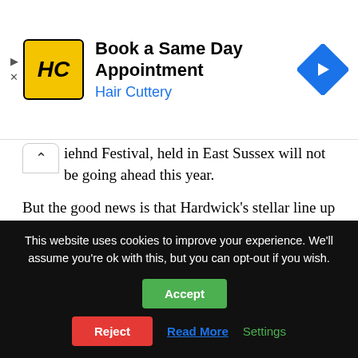[Figure (logo): Hair Cuttery advertisement banner with HC logo (yellow/black), text 'Book a Same Day Appointment' and 'Hair Cuttery' in blue, and a blue navigation diamond icon on the right.]
iehnd Festival, held in East Sussex will not be going ahead this year.
But the good news is that Hardwick's stellar line up is still attracting music lovers, with audiences of up to 20,000 expected over the two days.
One of the main attractions at this year's even is the appearance of top, award-winning female singers – Becky Hill and Ella Eyre – who are set to shine on
This website uses cookies to improve your experience. We'll assume you're ok with this, but you can opt-out if you wish. Accept Reject Read More Settings